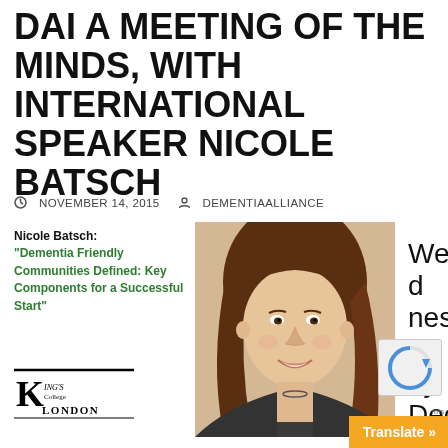DAI A MEETING OF THE MINDS, WITH INTERNATIONAL SPEAKER NICOLE BATSCH
NOVEMBER 14, 2015   DEMENTIAALLIANCE
[Figure (photo): Portrait photo of Nicole Batsch, a woman with long brown hair, smiling, wearing a dark top]
Nicole Batsch: "Dementia Friendly Communities Defined: Key Components for a Successful Start"
[Figure (logo): King's College London logo]
Wednesday December 9
(USA/UK)
Thursday December 10 (AU/NZ)